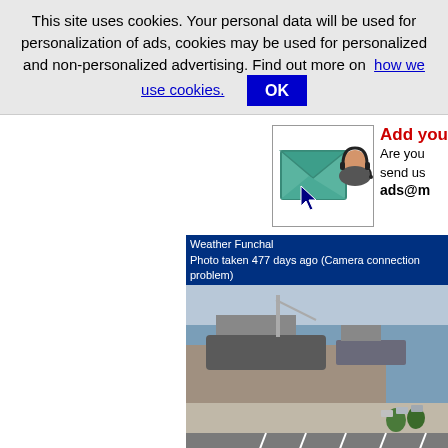This site uses cookies. Your personal data will be used for personalization of ads, cookies may be used for personalized and non-personalized advertising. Find out more on how we use cookies. OK
[Figure (illustration): Ad banner with envelope icon and woman with headset, partially visible. Text: Add you... Are you... send us... ads@m...]
[Figure (photo): Weather Funchal webcam photo taken 477 days ago (Camera connection problem). Aerial view of Funchal harbor with ships, a roundabout, and trees.]